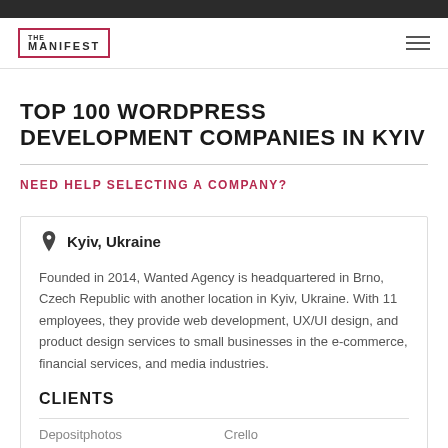THE MANIFEST
TOP 100 WORDPRESS DEVELOPMENT COMPANIES IN KYIV
NEED HELP SELECTING A COMPANY?
Kyiv, Ukraine
Founded in 2014, Wanted Agency is headquartered in Brno, Czech Republic with another location in Kyiv, Ukraine. With 11 employees, they provide web development, UX/UI design, and product design services to small businesses in the e-commerce, financial services, and media industries.
CLIENTS
Depositphotos   Crello